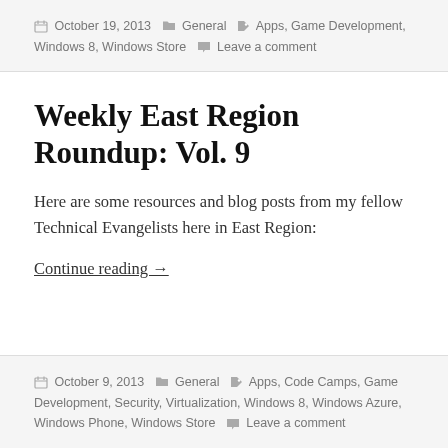October 19, 2013  General  Apps, Game Development, Windows 8, Windows Store  Leave a comment
Weekly East Region Roundup: Vol. 9
Here are some resources and blog posts from my fellow Technical Evangelists here in East Region:
Continue reading →
October 9, 2013  General  Apps, Code Camps, Game Development, Security, Virtualization, Windows 8, Windows Azure, Windows Phone, Windows Store  Leave a comment